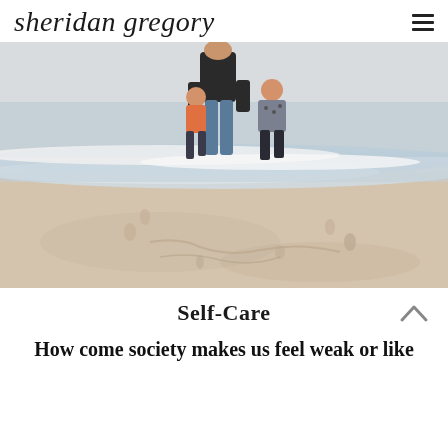sheridan gregory
[Figure (photo): A woman and two children playing at the beach shoreline, waves washing in around their feet. The lower portion shows sandy beach with footprints.]
Self-Care
How come society makes us feel weak or like